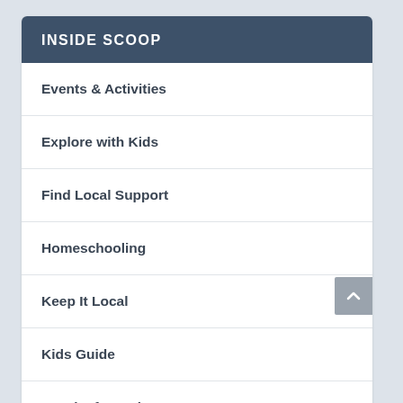INSIDE SCOOP
Events & Activities
Explore with Kids
Find Local Support
Homeschooling
Keep It Local
Kids Guide
Local Information